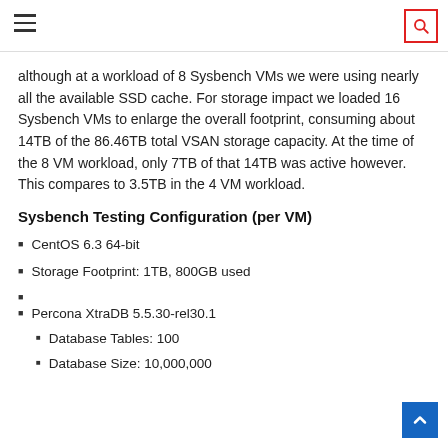Navigation bar with hamburger menu and search icon
although at a workload of 8 Sysbench VMs we were using nearly all the available SSD cache. For storage impact we loaded 16 Sysbench VMs to enlarge the overall footprint, consuming about 14TB of the 86.46TB total VSAN storage capacity. At the time of the 8 VM workload, only 7TB of that 14TB was active however. This compares to 3.5TB in the 4 VM workload.
Sysbench Testing Configuration (per VM)
CentOS 6.3 64-bit
Storage Footprint: 1TB, 800GB used
Percona XtraDB 5.5.30-rel30.1
Database Tables: 100
Database Size: 10,000,000
Database Threads: 32